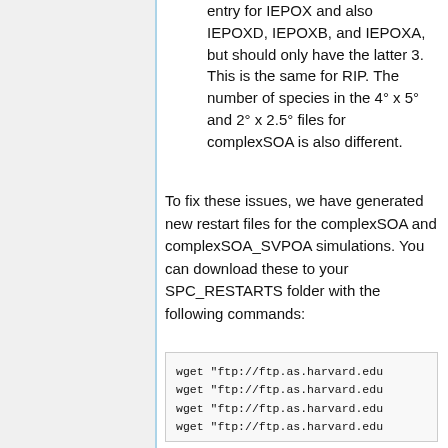entry for IEPOX and also IEPOXD, IEPOXB, and IEPOXA, but should only have the latter 3. This is the same for RIP. The number of species in the 4° x 5° and 2° x 2.5° files for complexSOA is also different.
To fix these issues, we have generated new restart files for the complexSOA and complexSOA_SVPOA simulations. You can download these to your SPC_RESTARTS folder with the following commands:
wget "ftp://ftp.as.harvard.edu...
wget "ftp://ftp.as.harvard.edu...
wget "ftp://ftp.as.harvard.edu...
wget "ftp://ftp.as.harvard.edu...